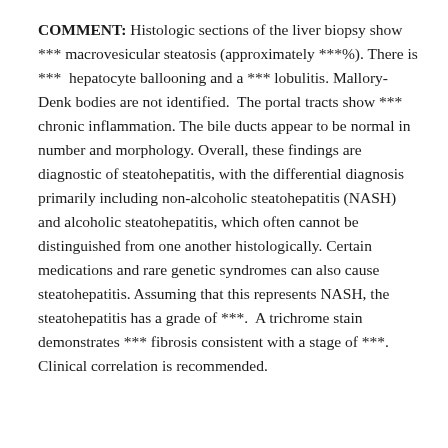COMMENT: Histologic sections of the liver biopsy show *** macrovesicular steatosis (approximately ***%). There is ***  hepatocyte ballooning and a *** lobulitis. Mallory-Denk bodies are not identified.  The portal tracts show *** chronic inflammation. The bile ducts appear to be normal in number and morphology. Overall, these findings are diagnostic of steatohepatitis, with the differential diagnosis primarily including non-alcoholic steatohepatitis (NASH) and alcoholic steatohepatitis, which often cannot be distinguished from one another histologically. Certain medications and rare genetic syndromes can also cause steatohepatitis. Assuming that this represents NASH, the steatohepatitis has a grade of ***.  A trichrome stain demonstrates *** fibrosis consistent with a stage of ***. Clinical correlation is recommended.